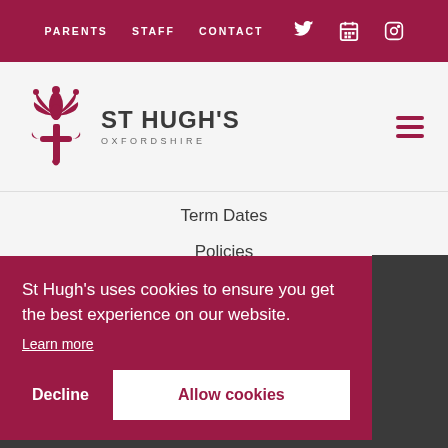PARENTS   STAFF   CONTACT
[Figure (logo): St Hugh's Oxfordshire school logo with fleur-de-lis emblem in dark red and school name text]
Term Dates
Policies
St Hugh's uses cookies to ensure you get the best experience on our website. Learn more
Decline
Allow cookies
Privacy Policy